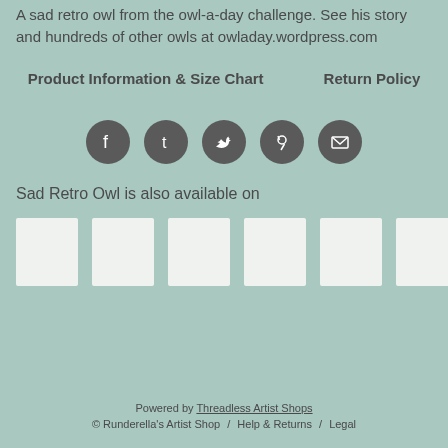A sad retro owl from the owl-a-day challenge. See his story and hundreds of other owls at owladay.wordpress.com
Product Information & Size Chart    Return Policy
[Figure (infographic): Five circular social media share icons: Facebook, Tumblr, Twitter, Pinterest, Email]
Sad Retro Owl is also available on
[Figure (infographic): Six white product thumbnail placeholder images in a horizontal row]
Powered by Threadless Artist Shops
© Runderella's Artist Shop / Help & Returns / Legal